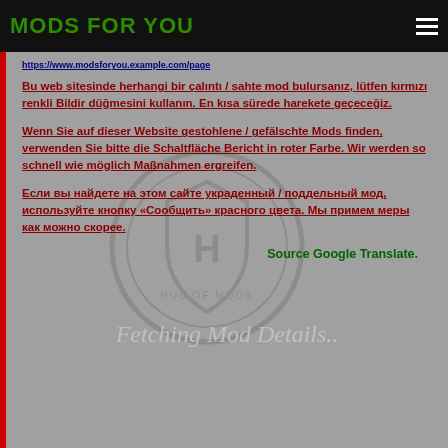MODS FOR YOU
Bu web sitesinde herhangi bir çalıntı / sahte mod bulursanız, lütfen kırmızı renkli Bildir düğmesini kullanın. En kısa sürede harekete geçeceğiz.
Wenn Sie auf dieser Website gestohlene / gefälschte Mods finden, verwenden Sie bitte die Schaltfläche Bericht in roter Farbe. Wir werden so schnell wie möglich Maßnahmen ergreifen.
Если вы найдете на этом сайте украденный / поддельный мод, используйте кнопку «Сообщить» красного цвета. Мы примем меры как можно скорее.
Source Google Translate.
[Figure (logo): Hub of Mods circular logo watermark in gray]
Fetching Mod Details..